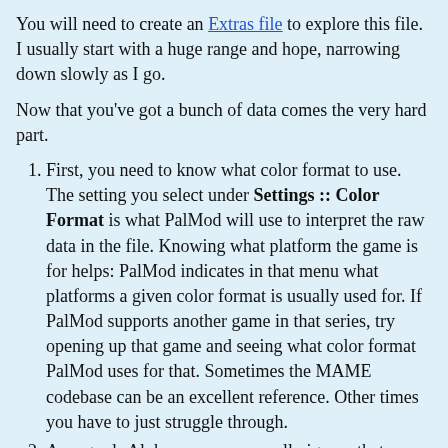You will need to create an Extras file to explore this file. I usually start with a huge range and hope, narrowing down slowly as I go.
Now that you've got a bunch of data comes the very hard part.
First, you need to know what color format to use. The setting you select under Settings :: Color Format is what PalMod will use to interpret the raw data in the file. Knowing what platform the game is for helps: PalMod indicates in that menu what platforms a given color format is usually used for. If PalMod supports another game in that series, try opening up that game and seeing what color format PalMod uses for that. Sometimes the MAME codebase can be an excellent reference. Other times you have to just struggle through.
As regards Alpha... you can usually ignore that.
At this point... start browsing through the game file set. You are looking for a needle in a haystack: expect to take a bit, and it's going to be extra hard if you don't have the right color format set. You can load a similar game in PalMod to check what color format that uses, or look at MAME's code to figure out what color format to use if possible. Otherwise... guess, but you'll need to redo the search for each color format you think that game might be. If that